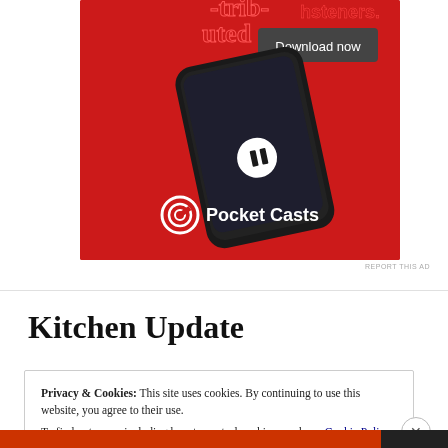[Figure (illustration): Pocket Casts advertisement on red background showing a smartphone with the podcast app open, with 'Download now' button and Pocket Casts logo]
REPORT THIS AD
Kitchen Update
Privacy & Cookies: This site uses cookies. By continuing to use this website, you agree to their use.
To find out more, including how to control cookies, see here: Cookie Policy
Close and accept